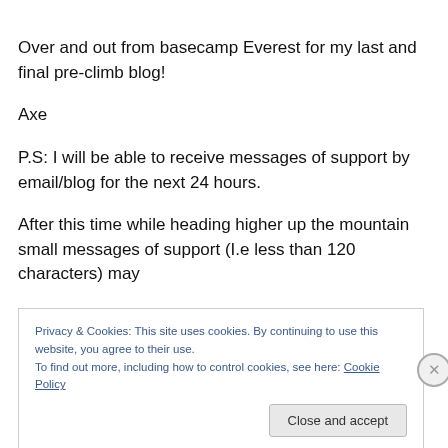Over and out from basecamp Everest for my last and final pre-climb blog!
Axe
P.S: I will be able to receive messages of support by email/blog for the next 24 hours.
After this time while heading higher up the mountain small messages of support (I.e less than 120 characters) may
Privacy & Cookies: This site uses cookies. By continuing to use this website, you agree to their use.
To find out more, including how to control cookies, see here: Cookie Policy
Close and accept